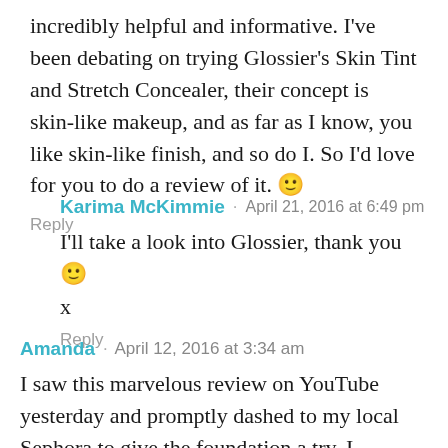incredibly helpful and informative. I've been debating on trying Glossier's Skin Tint and Stretch Concealer, their concept is skin-like makeup, and as far as I know, you like skin-like finish, and so do I. So I'd love for you to do a review of it. 🙂
Reply
Karima McKimmie · April 21, 2016 at 6:49 pm
I'll take a look into Glossier, thank you 🙂

x
Reply
Amanda · April 12, 2016 at 3:34 am
I saw this marvelous review on YouTube yesterday and promptly dashed to my local Sephora to give the foundation a try. I intended to grab a sample, but once I